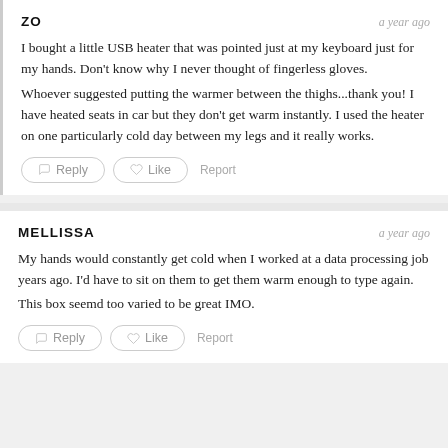ZO
a year ago
I bought a little USB heater that was pointed just at my keyboard just for my hands. Don't know why I never thought of fingerless gloves.
Whoever suggested putting the warmer between the thighs...thank you! I have heated seats in car but they don't get warm instantly. I used the heater on one particularly cold day between my legs and it really works.
MELLISSA
a year ago
My hands would constantly get cold when I worked at a data processing job years ago. I'd have to sit on them to get them warm enough to type again.
This box seemd too varied to be great IMO.